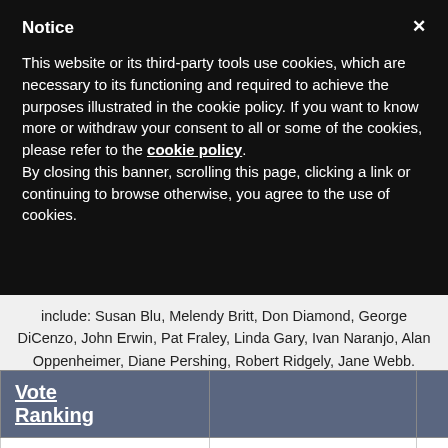Notice
This website or its third-party tools use cookies, which are necessary to its functioning and required to achieve the purposes illustrated in the cookie policy. If you want to know more or withdraw your consent to all or some of the cookies, please refer to the cookie policy.
By closing this banner, scrolling this page, clicking a link or continuing to browse otherwise, you agree to the use of cookies.
include: Susan Blu, Melendy Britt, Don Diamond, George DiCenzo, John Erwin, Pat Fraley, Linda Gary, Ivan Naranjo, Alan Oppenheimer, Diane Pershing, Robert Ridgely, Jane Webb.
| Vote Ranking |  |  |
| --- | --- | --- |
| 1 | Henry Darrow
Actor | [photo] |